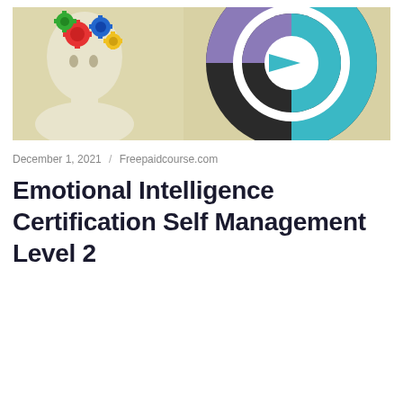[Figure (illustration): Banner image showing a human head silhouette with colorful gears on the left side, and a large circular target/donut chart with teal, purple, and dark segments on the right, against a beige/tan background.]
December 1, 2021 / Freepaidcourse.com
Emotional Intelligence Certification Self Management Level 2